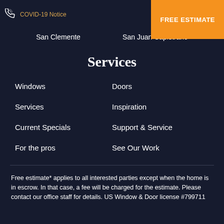COVID-19 Notice    FREE ESTIMATE
San Clemente    San Juan Capistrano
Services
Windows
Doors
Services
Inspiration
Current Specials
Support & Service
For the pros
See Our Work
Free estimate* applies to all interested parties except when the home is in escrow. In that case, a fee will be charged for the estimate. Please contact our office staff for details. US Window & Door license #799711